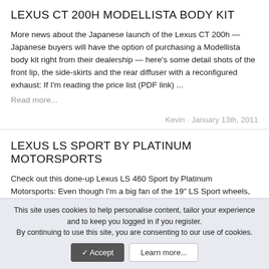LEXUS CT 200H MODELLISTA BODY KIT
More news about the Japanese launch of the Lexus CT 200h — Japanese buyers will have the option of purchasing a Modellista body kit right from their dealership — here's some detail shots of the front lip, the side-skirts and the rear diffuser with a reconfigured exhaust: If I'm reading the price list (PDF link) ...
Read more...
Kevin · January 13th, 2011
LEXUS LS SPORT BY PLATINUM MOTORSPORTS
Check out this done-up Lexus LS 460 Sport by Platinum Motorsports: Even though I'm a big fan of the 19" LS Sport wheels, these 22" Agetro W150 rims don't look out of place — pretty clean look with the Wald aero kit. [Source: Via: Club Lexus]
This site uses cookies to help personalise content, tailor your experience and to keep you logged in if you register.
By continuing to use this site, you are consenting to our use of cookies.